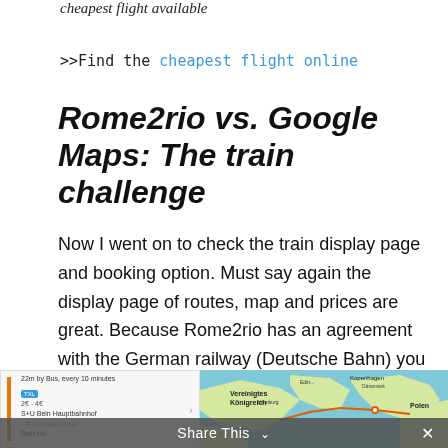cheapest flight available
>>Find the cheapest flight online
Rome2rio vs. Google Maps: The train challenge
Now I went on to check the train display page and booking option. Must say again the display page of routes, map and prices are great. Because Rome2rio has an agreement with the German railway (Deutsche Bahn) you can go directly and book the tickets.
[Figure (screenshot): Screenshot of Rome2rio train route interface showing bus option (22m by Bus, every 10 minutes, TXL badge, 2€-4€) beside a map of Europe showing Vereinigtes Königreich, Kopenhagen, Dänemark, Hamburg, Polen regions]
Share This